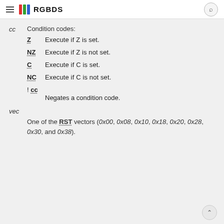RGBDS
cc  Condition codes:
Z  Execute if Z is set.
NZ  Execute if Z is not set.
C  Execute if C is set.
NC  Execute if C is not set.
! cc  Negates a condition code.
vec
One of the RST vectors (0x00, 0x08, 0x10, 0x18, 0x20, 0x28, 0x30, and 0x38).